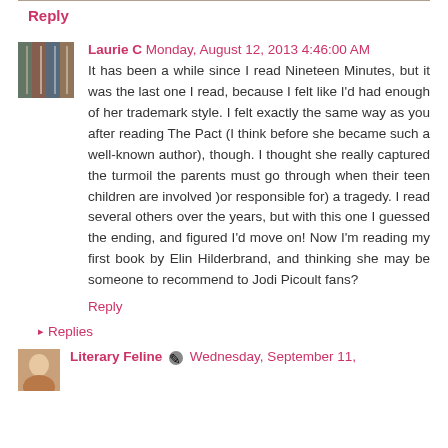Reply
Laurie C Monday, August 12, 2013 4:46:00 AM
It has been a while since I read Nineteen Minutes, but it was the last one I read, because I felt like I'd had enough of her trademark style. I felt exactly the same way as you after reading The Pact (I think before she became such a well-known author), though. I thought she really captured the turmoil the parents must go through when their teen children are involved )or responsible for) a tragedy. I read several others over the years, but with this one I guessed the ending, and figured I'd move on! Now I'm reading my first book by Elin Hilderbrand, and thinking she may be someone to recommend to Jodi Picoult fans?
Reply
Replies
Literary Feline Wednesday, September 11,